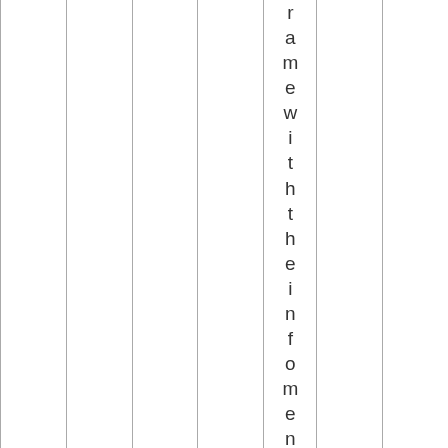|  |  |  | r a m e w i t h t h e i n f o m e n u o p e |  |  |
frame with the info menu ope